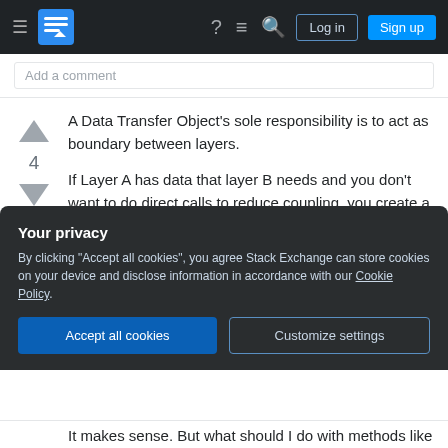Stack Exchange navigation bar with hamburger menu, logo, help, chat, search icons, Log in and Sign up buttons
Add a comment
A Data Transfer Object's sole responsibility is to act as boundary between layers.
If Layer A has data that layer B needs and you don't want to do direct calls to reduce coupling, you create a DTO to transfer the data.
As soon as you put logic into a DTO, not only is it no longer a DTO by definition, but you create the
Your privacy
By clicking "Accept all cookies", you agree Stack Exchange can store cookies on your device and disclose information in accordance with our Cookie Policy.
Accept all cookies
Customize settings
It makes sense. But what should I do with methods like